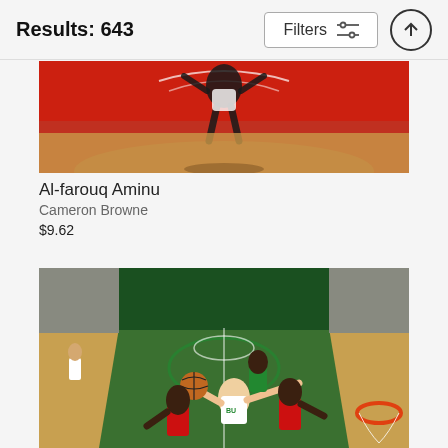Results: 643
Filters
[Figure (photo): Basketball player (Al-farouq Aminu) dunking, aerial view, red arena background]
Al-farouq Aminu
Cameron Browne
$9.62
[Figure (photo): NBA basketball game at Milwaukee Bucks arena, player driving to the basket against defenders, aerial court view showing Bucks logo]